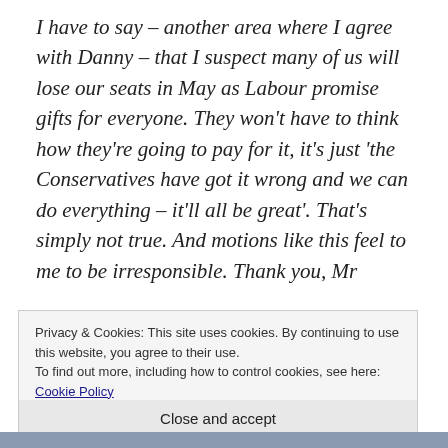I have to say – another area where I agree with Danny – that I suspect many of us will lose our seats in May as Labour promise gifts for everyone. They won't have to think how they're going to pay for it, it's just 'the Conservatives have got it wrong and we can do everything – it'll all be great'. That's simply not true. And motions like this feel to me to be irresponsible. Thank you, Mr
Privacy & Cookies: This site uses cookies. By continuing to use this website, you agree to their use.
To find out more, including how to control cookies, see here: Cookie Policy
Close and accept